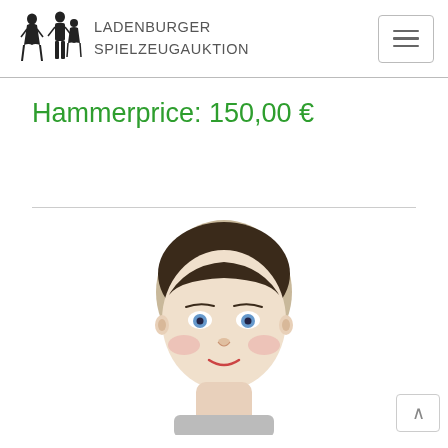LADENBURGER SPIELZEUGAUKTION
Hammerprice: 150,00 €
[Figure (photo): Close-up photo of an antique porcelain doll head with pale complexion, dark painted hair, blue eyes, rosy cheeks, and small red lips, wearing what appears to be period clothing at the bottom edge.]